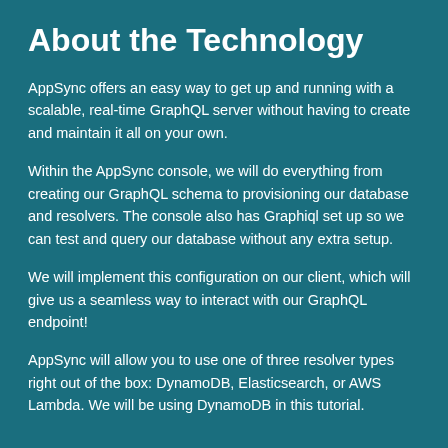About the Technology
AppSync offers an easy way to get up and running with a scalable, real-time GraphQL server without having to create and maintain it all on your own.
Within the AppSync console, we will do everything from creating our GraphQL schema to provisioning our database and resolvers. The console also has Graphiql set up so we can test and query our database without any extra setup.
We will implement this configuration on our client, which will give us a seamless way to interact with our GraphQL endpoint!
AppSync will allow you to use one of three resolver types right out of the box: DynamoDB, Elasticsearch, or AWS Lambda. We will be using DynamoDB in this tutorial.